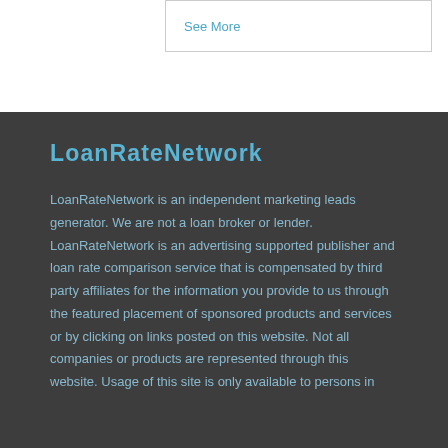See More
LoanRateNetwork
LoanRateNetwork is an independent marketing leads generator. We are not a loan broker or lender. LoanRateNetwork is an advertising supported publisher and loan rate comparison service that is compensated by third party affiliates for the information you provide to us through the featured placement of sponsored products and services or by clicking on links posted on this website. Not all companies or products are represented through this website. Usage of this site is only available to persons in